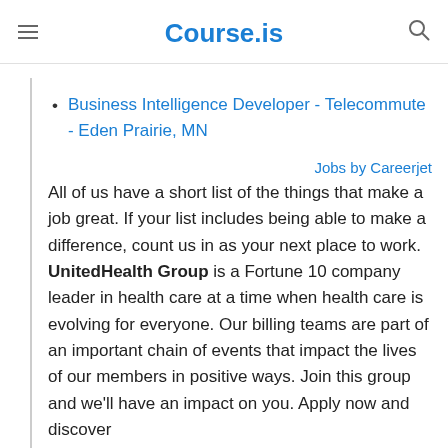Course.is
Business Intelligence Developer - Telecommute - Eden Prairie, MN
Jobs by Careerjet
All of us have a short list of the things that make a job great. If your list includes being able to make a difference, count us in as your next place to work. UnitedHealth Group is a Fortune 10 company leader in health care at a time when health care is evolving for everyone. Our billing teams are part of an important chain of events that impact the lives of our members in positive ways. Join this group and we'll have an impact on you. Apply now and discover